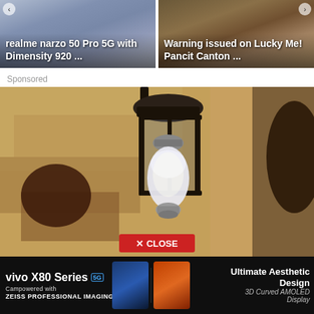[Figure (screenshot): News card thumbnail: realme narzo 50 Pro 5G with Dimensity 920 ... with phone image on blue/grey gradient background]
realme narzo 50 Pro 5G with Dimensity 920 ...
[Figure (screenshot): News card thumbnail: Warning issued on Lucky Me! Pancit Canton ... with food/noodle bowl on dark background]
Warning issued on Lucky Me! Pancit Canton ...
Sponsored
[Figure (photo): Close-up photo of a black outdoor lantern/light fixture with a white round LED bulb, mounted on a textured tan/brown stucco wall. Has a CLOSE button overlay at bottom center.]
[Figure (screenshot): Bottom banner ad for vivo X80 Series 5G with ZEISS PROFESSIONAL IMAGING on left, phone images in center, and Ultimate Aesthetic Design / 3D Curved AMOLED Display text on right]